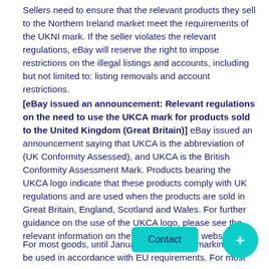Sellers need to ensure that the relevant products they sell to the Northern Ireland market meet the requirements of the UKNI mark. If the seller violates the relevant regulations, eBay will reserve the right to impose restrictions on the illegal listings and accounts, including but not limited to: listing removals and account restrictions.
[eBay issued an announcement: Relevant regulations on the need to use the UKCA mark for products sold to the United Kingdom (Great Britain)] eBay issued an announcement saying that UKCA is the abbreviation of (UK Conformity Assessed), and UKCA is the British Conformity Assessment Mark. Products bearing the UKCA logo indicate that these products comply with UK regulations and are used when the products are sold in Great Britain, England, Scotland and Wales. For further guidance on the use of the UKCA logo, please see the relevant information on the UK Government website.
For most goods, until January 1, 2023, CE marking can be used in accordance with EU requirements. For most